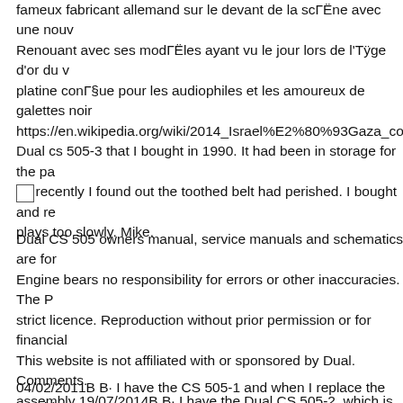fameux fabricant allemand sur le devant de la scène avec une nouv Renouant avec ses modèles ayant vu le jour lors de l'âge d'or du v platine conçue pour les audiophiles et les amoureux de galettes noir https://en.wikipedia.org/wiki/2014_Israel%E2%80%93Gaza_conflic Dual cs 505-3 that I bought in 1990. It had been in storage for the pa up recently I found out the toothed belt had perished. I bought and re plays too slowly. Mike.
[Figure (other): Small empty checkbox/square outline]
Dual CS 505 owners manual, service manuals and schematics are for Engine bears no responsibility for errors or other inaccuracies. The P strict licence. Reproduction without prior permission or for financial This website is not affiliated with or sponsored by Dual. Comments. assembly 19/07/2014В В· I have the Dual CS 505-2, which is a sligh own. It's a nice turntable. New belt, yes you should buy. But if you h there it might make more sense to just keep the cartridge and buy a n
04/02/2011В В· I have the CS 505-1 and when I replace the cartridg